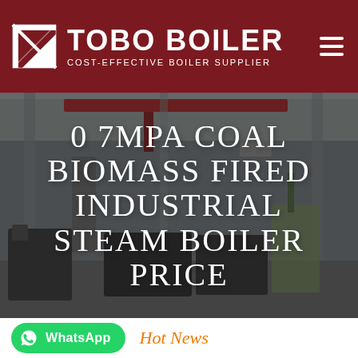TOBO BOILER — COST-EFFECTIVE BOILER SUPPLIER
[Figure (photo): Industrial boiler manufacturing facility interior with large boilers and overhead cranes. Overlay text reads: 0 7MPA COAL BIOMASS FIRED INDUSTRIAL STEAM BOILER PRICE]
0 7MPA COAL BIOMASS FIRED INDUSTRIAL STEAM BOILER PRICE
[Figure (logo): WhatsApp button with green background and WhatsApp icon, labeled WhatsApp]
Hot News